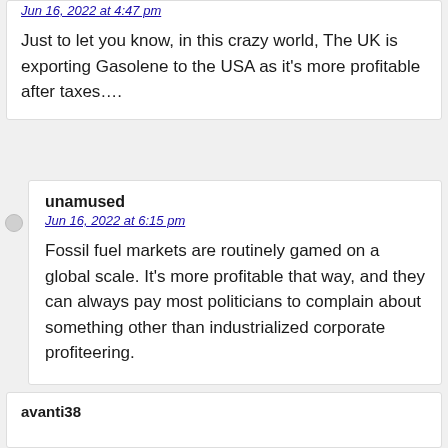Jun 16, 2022 at 4:47 pm
Just to let you know, in this crazy world, The UK is exporting Gasolene to the USA as it’s more profitable after taxes….
unamused
Jun 16, 2022 at 6:15 pm
Fossil fuel markets are routinely gamed on a global scale. It’s more profitable that way, and they can always pay most politicians to complain about something other than industrialized corporate profiteering.
avanti38